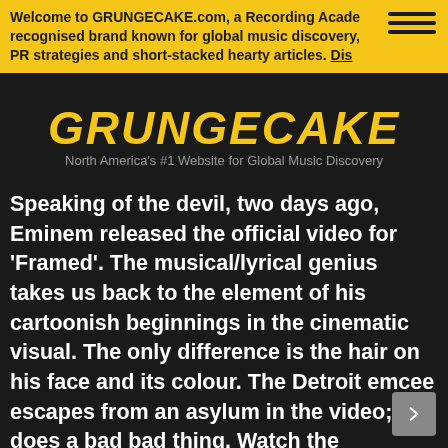Welcome to GRUNGECAKE.com, a Recording Academy recognised brand known for global music discovery, PR strategies and short-stacked hearty articles. DIS
GRUNGECAKE
North America's #1 Website for Global Music Discovery
Speaking of the devil, two days ago, Eminem released the official video for 'Framed'. The musical/lyrical genius takes us back to the element of his cartoonish beginnings in the cinematic visual. The only difference is the hair on his face and its colour. The Detroit emcee escapes from an asylum in the video; does a bad bad thing. Watch the incredible new video from the album 'Revival' below to find out his [alleged] offence.